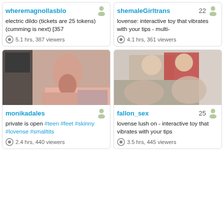[Figure (screenshot): Webcam listing card for wheremagnollasblo]
wheremagnollasblo
electric dildo (tickets are 25 tokens) (cumming is next) [357
5.1 hrs, 387 viewers
[Figure (screenshot): Webcam listing card for shemaleGirltrans, age 22]
shemaleGirltrans 22
lovense: interactive toy that vibrates with your tips - multi-
4.1 hrs, 361 viewers
[Figure (photo): Thumbnail photo for monikadales stream]
monikadales
private is open #teen #feet #skinny #lovense #smalltits
2.4 hrs, 440 viewers
[Figure (photo): Thumbnail photo for fallon_sex stream, age 25]
fallon_sex 25
lovense lush on - interactive toy that vibrates with your tips
3.5 hrs, 445 viewers